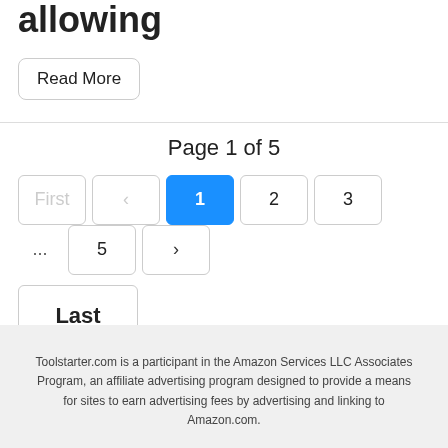allowing
Read More
Page 1 of 5
First  <  1  2  3  ...  5  >  Last
Toolstarter.com is a participant in the Amazon Services LLC Associates Program, an affiliate advertising program designed to provide a means for sites to earn advertising fees by advertising and linking to Amazon.com.